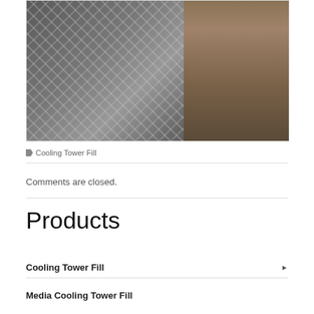[Figure (photo): Close-up photo of cooling tower fill media (corrugated PVC or similar material) stacked on a wooden pallet, showing the cross-fluted texture and layered structure, with a concrete floor visible in the background.]
Cooling Tower Fill
Comments are closed.
Products
Cooling Tower Fill
Media Cooling Tower Fill